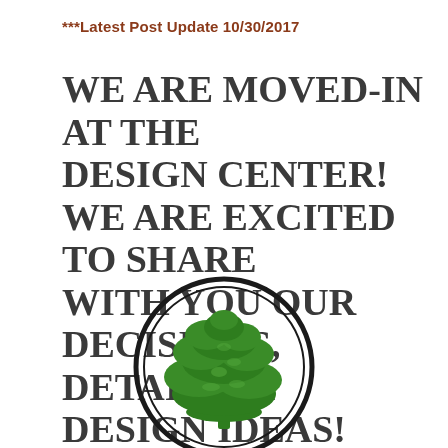***Latest Post Update 10/30/2017
WE ARE MOVED-IN AT THE DESIGN CENTER! WE ARE EXCITED TO SHARE WITH YOU OUR DECISIONS, DETAILS, & DESIGN IDEAS!
[Figure (logo): A circular logo with a green oak tree silhouette centered within a double-ring black circle border on a white background.]